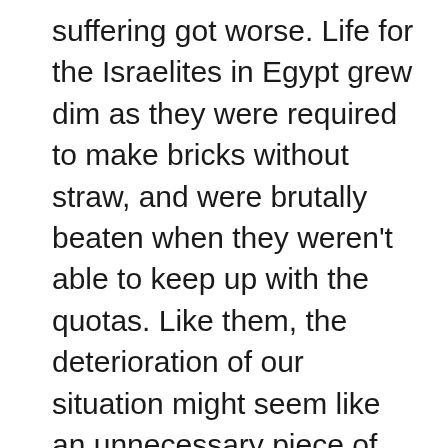suffering got worse. Life for the Israelites in Egypt grew dim as they were required to make bricks without straw, and were brutally beaten when they weren't able to keep up with the quotas. Like them, the deterioration of our situation might seem like an unnecessary piece of the journey, but it is actually an important part of the process because it brings us to a turning point where we are willing to do something about our situation. We can say it is the straw that breaks the camel's back; it can push us over the edge; and after that, nothing can be the same.